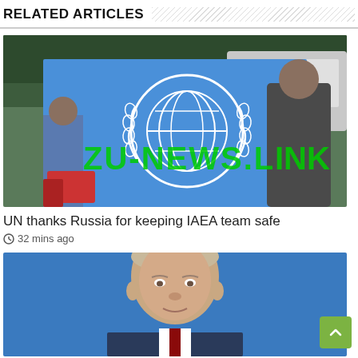RELATED ARTICLES
[Figure (photo): A person holding a blue UN flag outdoors, with a green watermark text 'ZU-NEWS.LINK' overlaid on the image.]
UN thanks Russia for keeping IAEA team safe
32 mins ago
[Figure (photo): Portrait photo of a man (appears to be Vladimir Putin) on a blue background, partially cropped at bottom of page.]